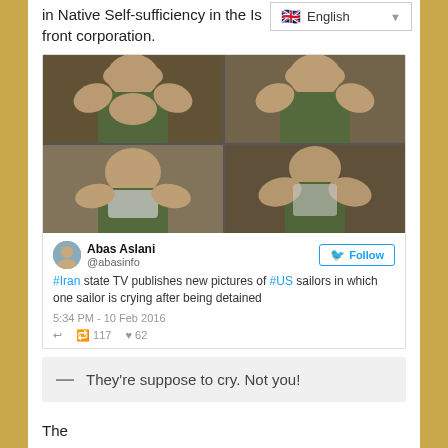in Native Self-sufficiency in the Is... front corporation.
[Figure (screenshot): Screenshot of a tweet by Abas Aslani (@abasinfo) showing a 2x2 photo grid of a US sailor crying after being detained by Iran. Tweet text: '#Iran state TV publishes new pictures of #US sailors in which one sailor is crying after being detained'. Timestamp: 5:34 PM - 10 Feb 2016. Retweets: 117, Likes: 62.]
— They're suppose to cry. Not you!
The...